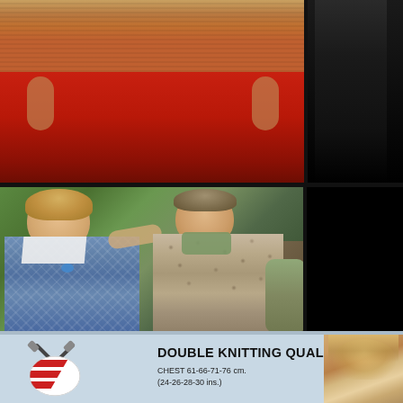[Figure (photo): Top section showing two fashion photos: left photo shows person wearing a knitted sweater/vest with red skirt, right photo shows person in dark clothing]
[Figure (photo): Middle photo showing a couple outdoors. Woman on left wearing a blue diamond-pattern knitted vest with butterfly brooch, man on right wearing a mottled beige/brown knitted vest, both smiling]
[Figure (logo): Marriner branded logo with crossed knitting needles and a ball of yarn with red and white diagonal stripes]
DOUBLE KNITTING QUALITIES
CHEST 61-66-71-76 cm.
(24-26-28-30 ins.)
[Figure (photo): Partial photo of a child with blonde hair, partially cropped]